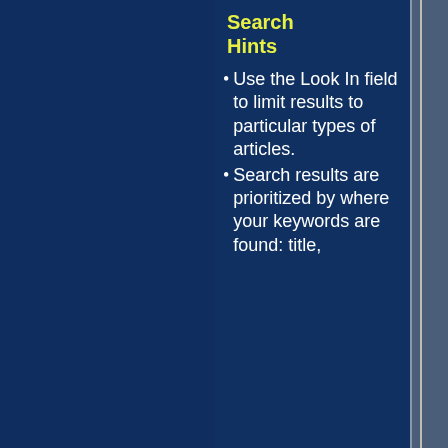Search Hints
Use the Look In field to limit results to particular types of articles.
Search results are prioritized by where your keywords are found: title,